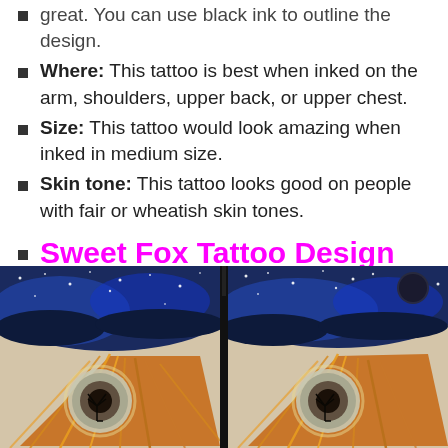great. You can use black ink to outline the design.
Where: This tattoo is best when inked on the arm, shoulders, upper back, or upper chest.
Size: This tattoo would look amazing when inked in medium size.
Skin tone: This tattoo looks good on people with fair or wheatish skin tones.
Sweet Fox Tattoo Design On Arm
[Figure (photo): Two side-by-side photos of a colorful fox tattoo on an arm, featuring a cosmic/galaxy sky background with stars and a moon, and orange fur details of a fox. A dark vertical divider separates the two images.]